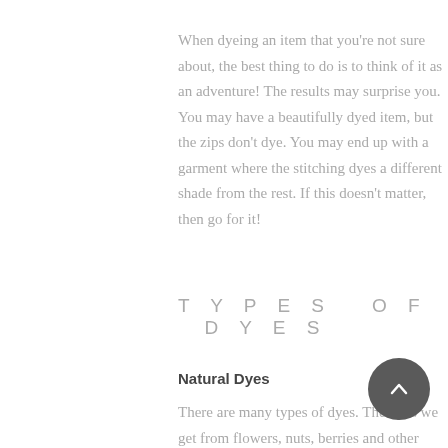When dyeing an item that you're not sure about, the best thing to do is to think of it as an adventure! The results may surprise you. You may have a beautifully dyed item, but the zips don't dye. You may end up with a garment where the stitching dyes a different shade from the rest. If this doesn't matter, then go for it!
TYPES OF DYES
Natural Dyes
There are many types of dyes. The dyes we get from flowers, nuts, berries and other forms of